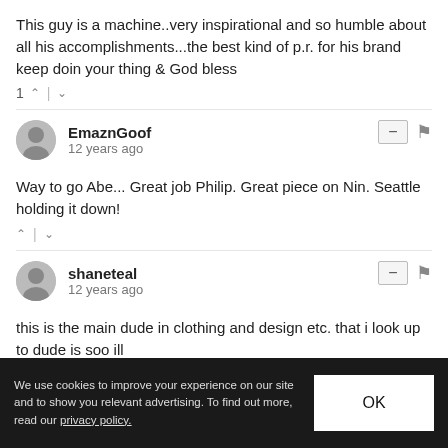This guy is a machine..very inspirational and so humble about all his accomplishments...the best kind of p.r. for his brand keep doin your thing & God bless
1 ↑ | ↓
EmaznGoof
12 years ago
Way to go Abe... Great job Philip. Great piece on Nin. Seattle holding it down!
↑ | ↓
shaneteal
12 years ago
this is the main dude in clothing and design etc. that i look up to dude is soo ill
↑ | ↓
We use cookies to improve your experience on our site and to show you relevant advertising. To find out more, read our privacy policy.